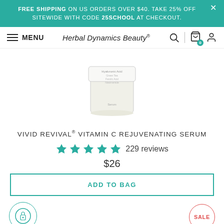FREE SHIPPING ON US ORDERS OVER $40. TAKE 25% OFF SITEWIDE WITH CODE 25SCHOOL AT CHECKOUT.
MENU | Herbal Dynamics Beauty®
[Figure (photo): Product image of Vivid Revival Vitamin C Rejuvenating Serum in a round glass jar with white lid]
VIVID REVIVAL® VITAMIN C REJUVENATING SERUM
★★★★★ 229 reviews
$26
ADD TO BAG
[Figure (illustration): Circular icon with a dropper/serum bottle illustration]
SALE